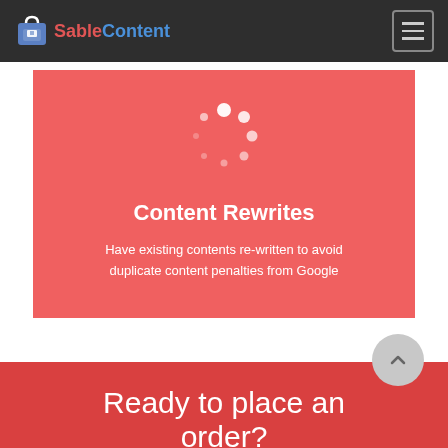SableContent
[Figure (illustration): Circular spinner/loading dots icon in white on a salmon/pink-red background]
Content Rewrites
Have existing contents re-written to avoid duplicate content penalties from Google
Ready to place an order?